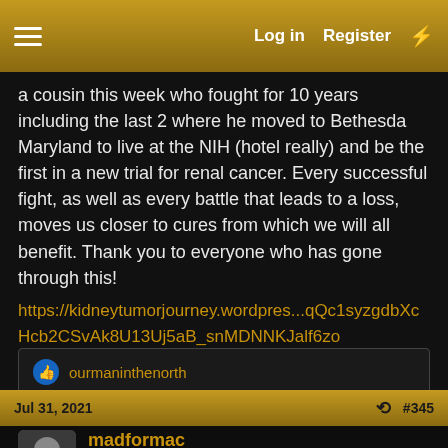Log in  Register
a cousin this week who fought for 10 years including the last 2 where he moved to Bethesda Maryland to live at the NIH (hotel really) and be the first in a new trial for renal cancer. Every successful fight, as well as every battle that leads to a loss, moves us closer to cures from which we will all benefit. Thank you to everyone who has gone through this!
https://kidneytumorjourney.wordpres...qQc1syzgdbXcHcb2CSvAk8U13Uj5aB_snMDNNKJalf6zo
ourmaninthenorth
Jul 31, 2021  #345
madformac
Member
Best news of the year Paul. I've set my alarm for 3pm on the